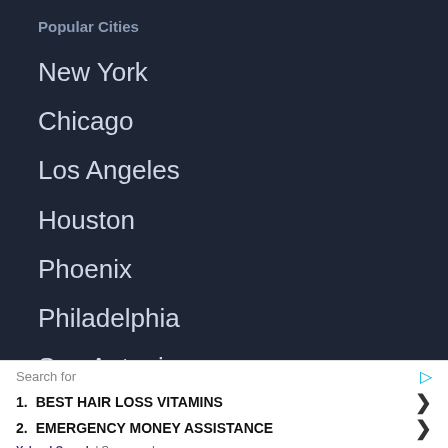Popular Cities
New York
Chicago
Los Angeles
Houston
Phoenix
Philadelphia
San Antonio
San Diego
Search for
1. BEST HAIR LOSS VITAMINS
2. EMERGENCY MONEY ASSISTANCE
Yahoo! Search | Sponsored